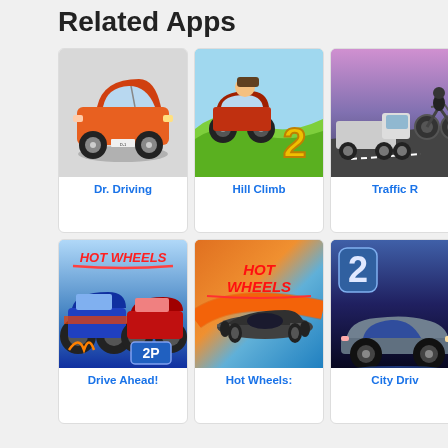Related Apps
[Figure (screenshot): Grid of 6 related app icons: Dr. Driving, Hill Climb, Traffic R..., Drive Ahead!, Hot Wheels:, City Driv...]
Dr. Driving
Hill Climb
Traffic R
Drive Ahead!
Hot Wheels:
City Driv